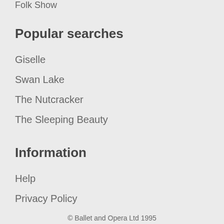Folk Show
Popular searches
Giselle
Swan Lake
The Nutcracker
The Sleeping Beauty
Information
Help
Privacy Policy
© Ballet and Opera Ltd 1995